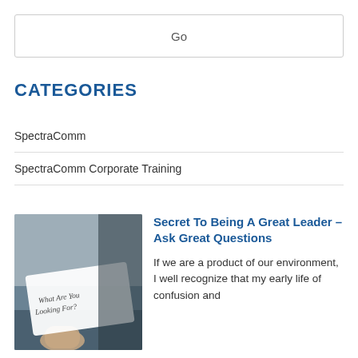Go
CATEGORIES
SpectraComm
SpectraComm Corporate Training
[Figure (photo): Person holding a white sign with the handwritten text 'What Are You Looking For?']
Secret To Being A Great Leader – Ask Great Questions
If we are a product of our environment, I well recognize that my early life of confusion and